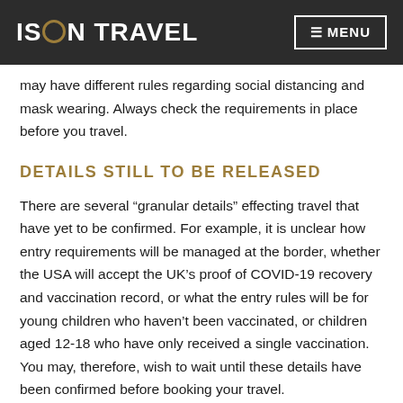ISON TRAVEL   ≡ MENU
may have different rules regarding social distancing and mask wearing. Always check the requirements in place before you travel.
DETAILS STILL TO BE RELEASED
There are several “granular details” effecting travel that have yet to be confirmed. For example, it is unclear how entry requirements will be managed at the border, whether the USA will accept the UK’s proof of COVID-19 recovery and vaccination record, or what the entry rules will be for young children who haven’t been vaccinated, or children aged 12-18 who have only received a single vaccination. You may, therefore, wish to wait until these details have been confirmed before booking your travel.